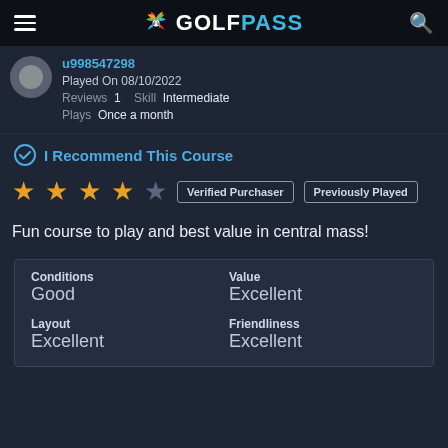GOLFPASS
u998547298
Played On 08/10/2022
Reviews 1  Skill Intermediate
Plays Once a month
I Recommend This Course
★★★★☆  Verified Purchaser  Previously Played
Fun course to play and best value in central mass!
| Conditions | Value |
| --- | --- |
| Good | Excellent |
| Layout
Excellent | Friendliness
Excellent |